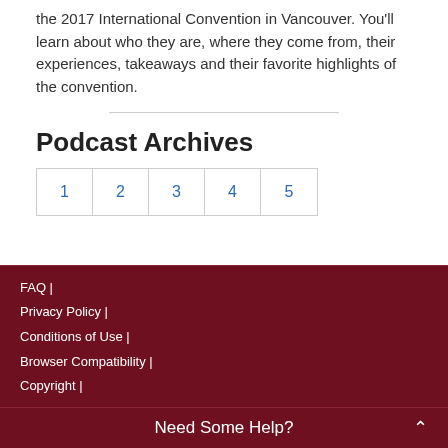the 2017 International Convention in Vancouver. You'll learn about who they are, where they come from, their experiences, takeaways and their favorite highlights of the convention.
Podcast Archives
| 1 | 2 | 3 | 4 | 5 |
| --- | --- | --- | --- | --- |
FAQ | Privacy Policy | Conditions of Use | Browser Compatibility | Copyright | Need Some Help?